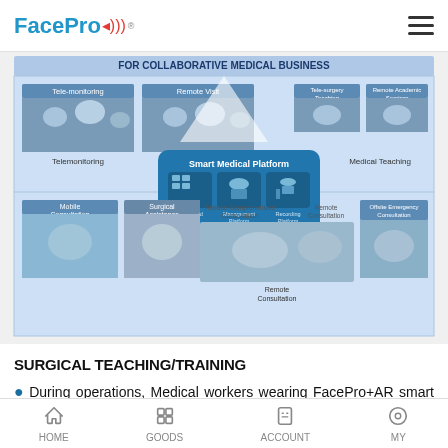FacePro
[Figure (infographic): Smart Medical Platform diagram showing Telemonitoring, Remote Visit, Tele-surgery Teaching, Remote Academic Seminar, Mobile Consultation, Surgical Assistance, Remote Comprehensive Consultation, Remote Consultation, Offsite Emergency Consultation, with central Smart Medical Platform hub including Media and Access, Management Platform, Recording Platform. Title: FOR COLLABORATIVE MEDICAL BUSINESS]
SURGICAL TEACHING/TRAINING
During operations, Medical workers wearing FacePro+AR smart glasses can free their hands, conduct real-time interaction with the first-view on-site surgery, obtaining and saving
HOME   GOODS   ACCOUNT   MY